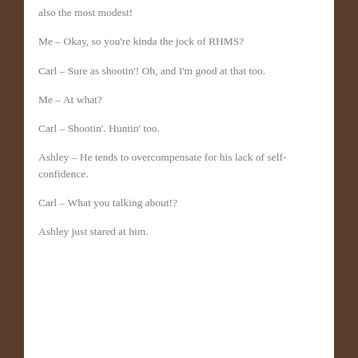also the most modest!
Me – Okay, so you're kinda the jock of RHMS?
Carl – Sure as shootin'! Oh, and I'm good at that too.
Me – At what?
Carl – Shootin'. Huntin' too.
Ashley – He tends to overcompensate for his lack of self-confidence.
Carl – What you talking about!?
Ashley just stared at him.